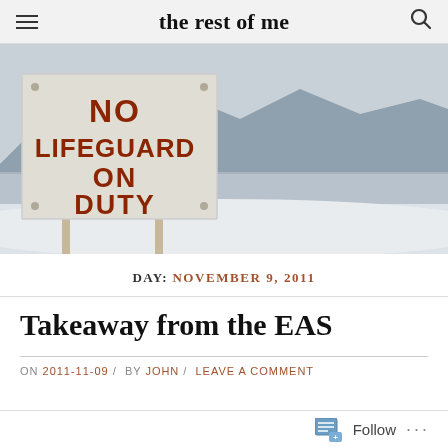the rest of me
[Figure (photo): Outdoor winter scene with a wooden sign reading 'NO LIFEGUARD ON DUTY' in red letters, set against a snowy landscape with a reflective lake and mountains in the background.]
DAY: NOVEMBER 9, 2011
Takeaway from the EAS
ON 2011-11-09 / BY JOHN / LEAVE A COMMENT
Follow